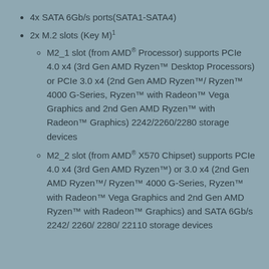4x SATA 6Gb/s ports(SATA1-SATA4)
2x M.2 slots (Key M)¹
M2_1 slot (from AMD® Processor) supports PCIe 4.0 x4 (3rd Gen AMD Ryzen™ Desktop Processors) or PCIe 3.0 x4 (2nd Gen AMD Ryzen™/ Ryzen™ 4000 G-Series, Ryzen™ with Radeon™ Vega Graphics and 2nd Gen AMD Ryzen™ with Radeon™ Graphics) 2242/2260/2280 storage devices
M2_2 slot (from AMD® X570 Chipset) supports PCIe 4.0 x4 (3rd Gen AMD Ryzen™) or 3.0 x4 (2nd Gen AMD Ryzen™/ Ryzen™ 4000 G-Series, Ryzen™ with Radeon™ Vega Graphics and 2nd Gen AMD Ryzen™ with Radeon™ Graphics) and SATA 6Gb/s 2242/ 2260/ 2280/ 22110 storage devices